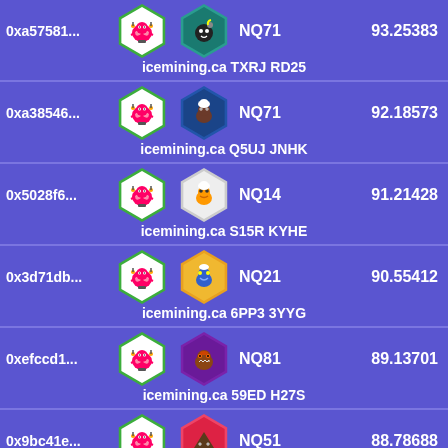0xa57581... NQ71 icemining.ca TXRJ RD25 93.25383
0xa38546... NQ71 icemining.ca Q5UJ JNHK 92.18573
0x5028f6... NQ14 icemining.ca S15R KYHE 91.21428
0x3d71db... NQ21 icemining.ca 6PP3 3YYG 90.55412
0xefccd1... NQ81 icemining.ca 59ED H27S 89.13701
0x9bc41e... NQ51 icemining.ca KYY3 R3ER 88.78688